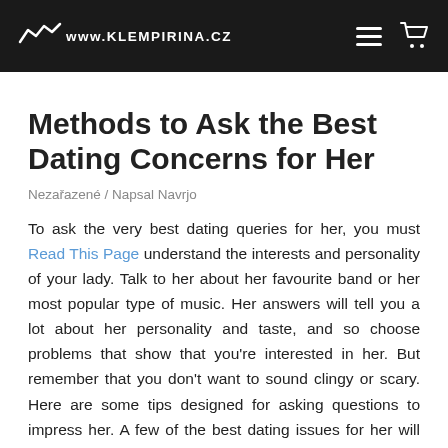www.KLEMPIRINA.CZ
Methods to Ask the Best Dating Concerns for Her
Nezařazené / Napsal Navrjo
To ask the very best dating queries for her, you must Read This Page understand the interests and personality of your lady. Talk to her about her favourite band or her most popular type of music. Her answers will tell you a lot about her personality and taste, and so choose problems that show that you're interested in her. But remember that you don't want to sound clingy or scary. Here are some tips designed for asking questions to impress her. A few of the best dating issues for her will probably be listed below.